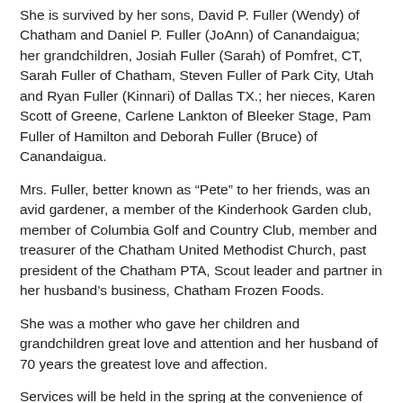She is survived by her sons, David P. Fuller (Wendy) of Chatham and Daniel P. Fuller (JoAnn) of Canandaigua; her grandchildren, Josiah Fuller (Sarah) of Pomfret, CT, Sarah Fuller of Chatham, Steven Fuller of Park City, Utah and Ryan Fuller (Kinnari) of Dallas TX.; her nieces, Karen Scott of Greene, Carlene Lankton of Bleeker Stage, Pam Fuller of Hamilton and Deborah Fuller (Bruce) of Canandaigua.
Mrs. Fuller, better known as “Pete” to her friends, was an avid gardener, a member of the Kinderhook Garden club, member of Columbia Golf and Country Club, member and treasurer of the Chatham United Methodist Church, past president of the Chatham PTA, Scout leader and partner in her husband’s business, Chatham Frozen Foods.
She was a mother who gave her children and grandchildren great love and attention and her husband of 70 years the greatest love and affection.
Services will be held in the spring at the convenience of the family.
In lieu of flowers, donations may be made to the local chapter of the American Cancer Society, Capital NY